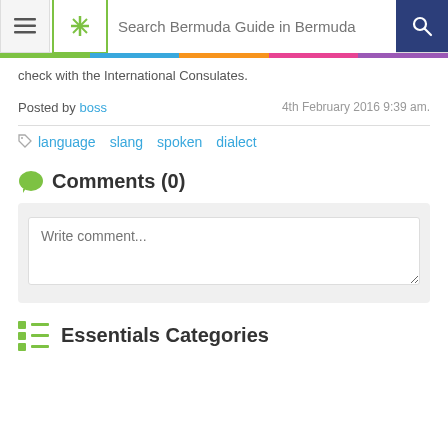Search Bermuda Guide in Bermuda
check with the International Consulates.
Posted by boss  4th February 2016 9:39 am.
language  slang  spoken  dialect
Comments (0)
Write comment...
Essentials Categories